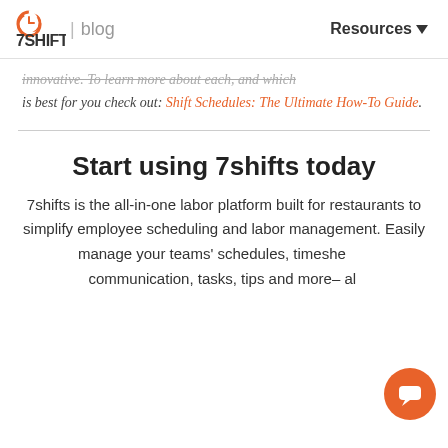7SHIFTS | blog   Resources
innovative. To learn more about each, and which is best for you check out: Shift Schedules: The Ultimate How-To Guide.
Start using 7shifts today
7shifts is the all-in-one labor platform built for restaurants to simplify employee scheduling and labor management. Easily manage your teams' schedules, timesheets, communication, tasks, tips and more– all